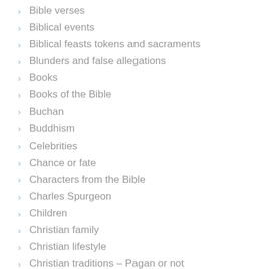Bible verses
Biblical events
Biblical feasts tokens and sacraments
Blunders and false allegations
Books
Books of the Bible
Buchan
Buddhism
Celebrities
Chance or fate
Characters from the Bible
Charles Spurgeon
Children
Christian family
Christian lifestyle
Christian traditions – Pagan or not
Christianity